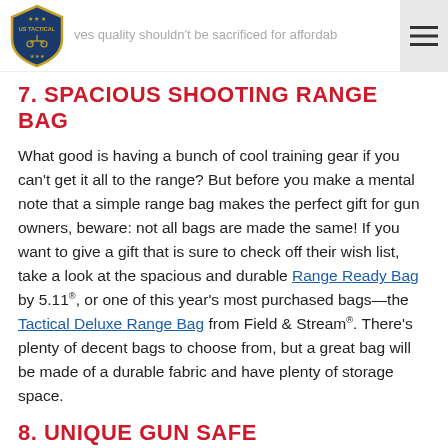...ously and were developed by a company that believes quality shouldn't be sacrificed for affordab...
7. SPACIOUS SHOOTING RANGE BAG
What good is having a bunch of cool training gear if you can't get it all to the range? But before you make a mental note that a simple range bag makes the perfect gift for gun owners, beware: not all bags are made the same! If you want to give a gift that is sure to check off their wish list, take a look at the spacious and durable Range Ready Bag by 5.11®, or one of this year's most purchased bags—the Tactical Deluxe Range Bag from Field & Stream®. There's plenty of decent bags to choose from, but a great bag will be made of a durable fabric and have plenty of storage space.
8. UNIQUE GUN SAFE
With more and more states enacting stricter firearm storage requirements, safe and tasteful gun safes are